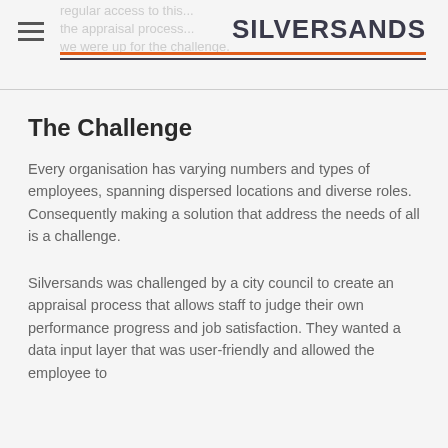SILVERSANDS
The Challenge
Every organisation has varying numbers and types of employees, spanning dispersed locations and diverse roles. Consequently making a solution that address the needs of all is a challenge.
Silversands was challenged by a city council to create an appraisal process that allows staff to judge their own performance progress and job satisfaction. They wanted a data input layer that was user-friendly and allowed the employee to